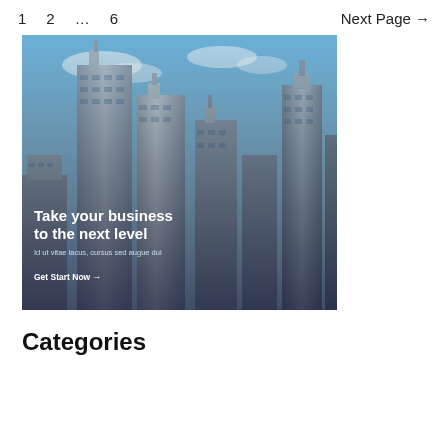1   2   ...   6   Next Page →
[Figure (photo): Skyline photo of Dubai skyscrapers with blue sky. Overlay text reads: 'Take your business to the next level' with subtitle 'Id ut vitae lacus, cursus sed augue dui' and CTA 'Get Start Now →']
Categories